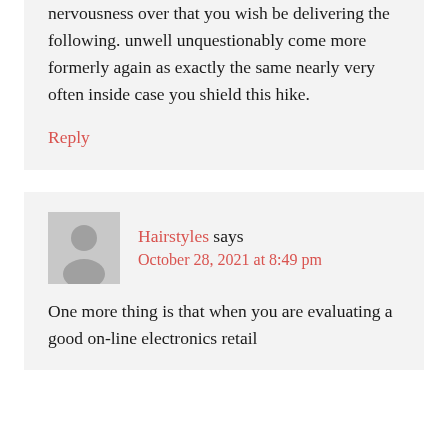nervousness over that you wish be delivering the following. unwell unquestionably come more formerly again as exactly the same nearly very often inside case you shield this hike.
Reply
Hairstyles says
October 28, 2021 at 8:49 pm
One more thing is that when you are evaluating a good on-line electronics retail